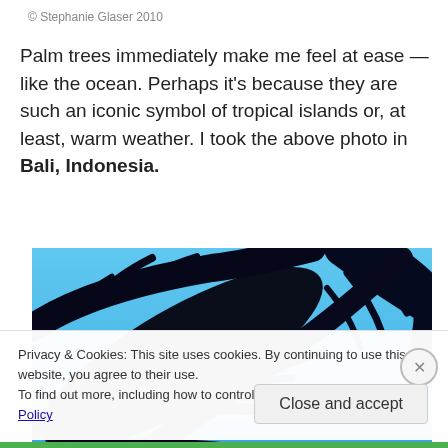© Stephanie Glaser 2010
Palm trees immediately make me feel at ease — like the ocean. Perhaps it's because they are such an iconic symbol of tropical islands or, at least, warm weather. I took the above photo in Bali, Indonesia.
[Figure (photo): Close-up photo of dark palm tree fronds against a bright blue sky, taken in Bali, Indonesia.]
Privacy & Cookies: This site uses cookies. By continuing to use this website, you agree to their use.
To find out more, including how to control cookies, see here: Cookie Policy